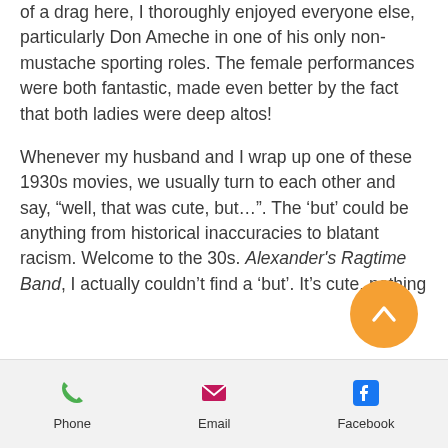of a drag here, I thoroughly enjoyed everyone else, particularly Don Ameche in one of his only non-mustache sporting roles. The female performances were both fantastic, made even better by the fact that both ladies were deep altos!
Whenever my husband and I wrap up one of these 1930s movies, we usually turn to each other and say, “well, that was cute, but…”. The ‘but’ could be anything from historical inaccuracies to blatant racism. Welcome to the 30s. Alexander's Ragtime Band, I actually couldn’t find a ‘but’. It's cute, nothing
Phone  Email  Facebook